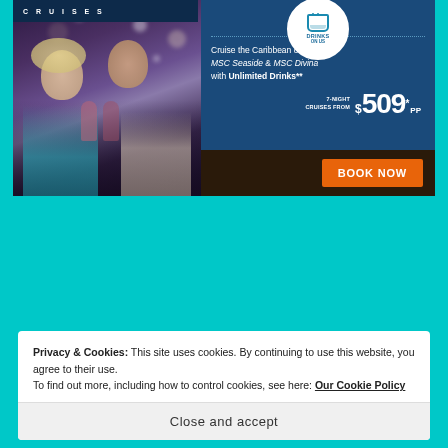[Figure (advertisement): MSC Cruises advertisement showing a couple toasting with wine glasses against a bokeh background. Text reads: 'Cruise the Caribbean on MSC Seaside & MSC Divina with Unlimited Drinks** 7-NIGHT CRUISES FROM $509* PP BOOK NOW'. A 'DRINKS ON US' circular badge is shown at the top.]
Privacy & Cookies: This site uses cookies. By continuing to use this website, you agree to their use.
To find out more, including how to control cookies, see here: Our Cookie Policy
Close and accept